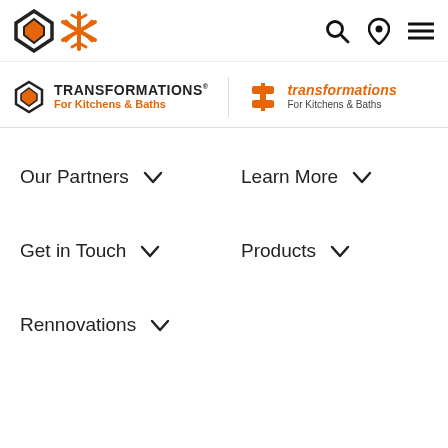[Figure (logo): Navigation bar with geometric diamond logo and tree/leaf logo on left, search icon, location pin icon, and hamburger menu icon on right]
[Figure (logo): Logo banner showing Transformations For Kitchens & Baths in two variants: black/orange bold and orange/dark italic style]
Our Partners ˅
Learn More ˅
Get in Touch ˅
Products ˅
Rennovations ˅